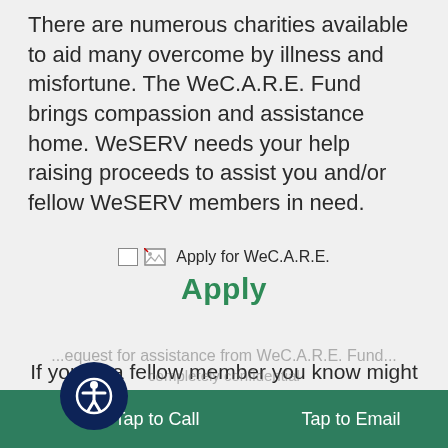There are numerous charities available to aid many overcome by illness and misfortune. The WeC.A.R.E. Fund brings compassion and assistance home. WeSERV needs your help raising proceeds to assist you and/or fellow WeSERV members in need.
[Figure (other): Broken image placeholder with alt text 'Apply for WeC.A.R.E.']
Apply
If you or a fellow member you know might benefit from this fund, submit an application for approval.
...equest for assistance from WeC.A.R.E. Fund... completely confidential
Tap to Call   Tap to Email